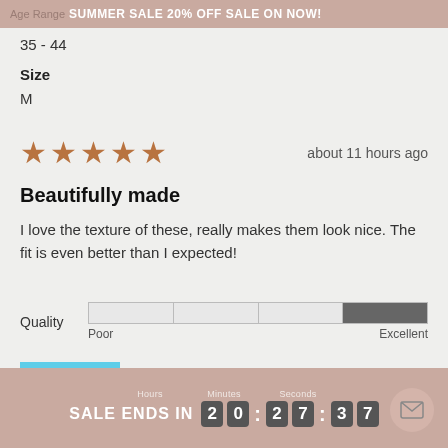Age Range SUMMER SALE 20% OFF SALE ON NOW!
35 - 44
Size
M
about 11 hours ago
Beautifully made
I love the texture of these, really makes them look nice. The fit is even better than I expected!
Quality   Poor   Excellent
[Figure (photo): Thumbnail photo of a person on a beach]
SALE ENDS IN 20:27:37